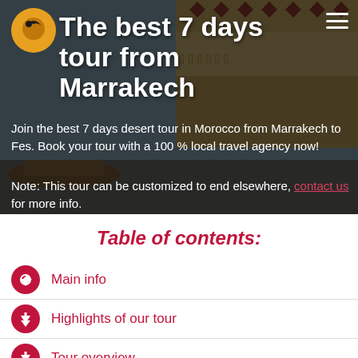[Figure (photo): Hero banner with background photo of Egyptian/Moroccan stone wall with hieroglyphics and decorative patterns, overlaid with dark semi-transparent overlay. Contains logo, title text, subtitle, and note.]
The best 7 days tour from Marrakech
Join the best 7 days desert tour in Morocco from Marrakech to Fes. Book your tour with a 100 % local travel agency now!
Note: This tour can be customized to end elsewhere, contact us for more info.
Table of contents:
Main info
Highlights of our tour
Tour overview